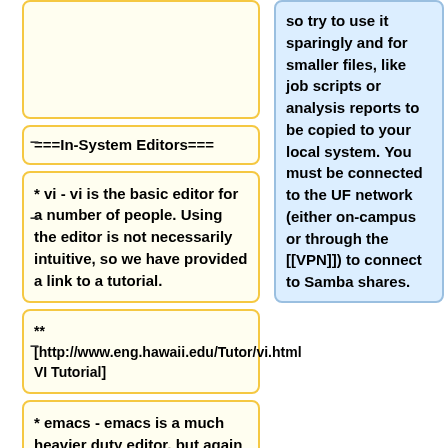so try to use it sparingly and for smaller files, like job scripts or analysis reports to be copied to your local system. You must be connected to the UF network (either on-campus or through the [[VPN]]) to connect to Samba shares.
===In-System Editors===
* vi - vi is the basic editor for a number of people. Using the editor is not necessarily intuitive, so we have provided a link to a tutorial.
**
[http://www.eng.hawaii.edu/Tutor/vi.html VI Tutorial]
* emacs - emacs is a much heavier duty editor, but again has the problem of having...